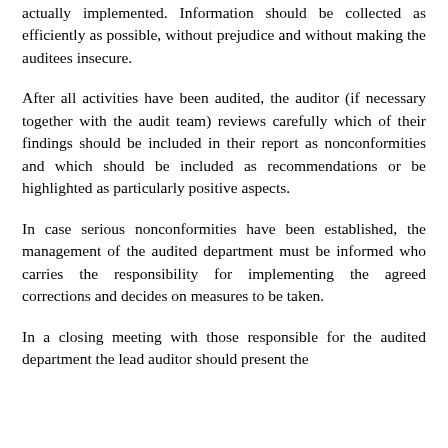actually implemented. Information should be collected as efficiently as possible, without prejudice and without making the auditees insecure.
After all activities have been audited, the auditor (if necessary together with the audit team) reviews carefully which of their findings should be included in their report as nonconformities and which should be included as recommendations or be highlighted as particularly positive aspects.
In case serious nonconformities have been established, the management of the audited department must be informed who carries the responsibility for implementing the agreed corrections and decides on measures to be taken.
In a closing meeting with those responsible for the audited department the lead auditor should present the